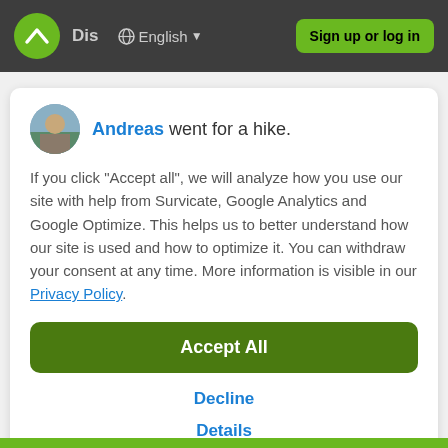Dis  English  Sign up or log in
Andreas went for a hike.
If you click "Accept all", we will analyze how you use our site with help from Survicate, Google Analytics and Google Optimize. This helps us to better understand how our site is used and how to optimize it. You can withdraw your consent at any time. More information is visible in our Privacy Policy.
Accept All
Decline
Details